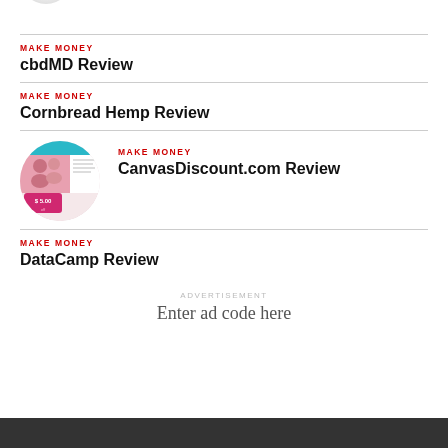[Figure (photo): Partial circular thumbnail image at top of page, cropped]
MAKE MONEY
cbdMD Review
MAKE MONEY
Cornbread Hemp Review
[Figure (screenshot): Circular thumbnail showing CanvasDiscount.com website screenshot with a couple photo and $5.00 offer badge]
MAKE MONEY
CanvasDiscount.com Review
MAKE MONEY
DataCamp Review
ADVERTISEMENT
Enter ad code here